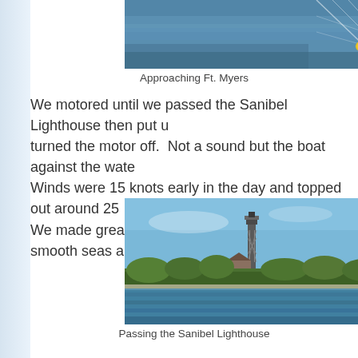[Figure (photo): Aerial or boat-deck view approaching Ft. Myers, showing water and rigging in the foreground]
Approaching Ft. Myers
We motored until we passed the Sanibel Lighthouse then put u... turned the motor off.  Not a sound but the boat against the wate... Winds were 15 knots early in the day and topped out around 25... We made great time covering 53 miles with smooth seas and a...
[Figure (photo): Photograph of the Sanibel Lighthouse rising above a treeline on Sanibel Island, with water in the foreground]
Passing the Sanibel Lighthouse